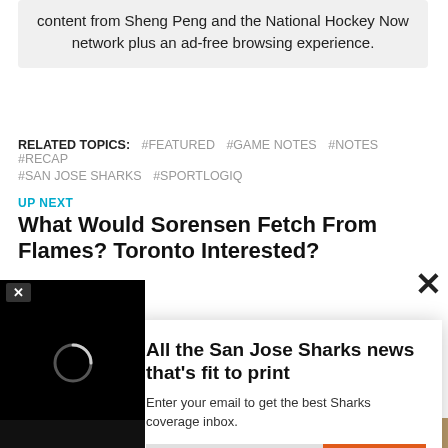content from Sheng Peng and the National Hockey Now network plus an ad-free browsing experience.
RELATED TOPICS: #FEATURED #GAME NOTES #NOTES #RECAP #SAN JOSE SHARKS #SPORTLOGIQ
UP NEXT
What Would Sorensen Fetch From Flames? Toronto Interested?
DON'T MISS
Game... Make...
[Figure (screenshot): Newsletter signup modal overlay: 'All the San Jose Sharks news that's fit to print' with email input and SIGN UP! button]
[Figure (screenshot): Video player widget in bottom-left corner, black background with loading spinner circle, X close button]